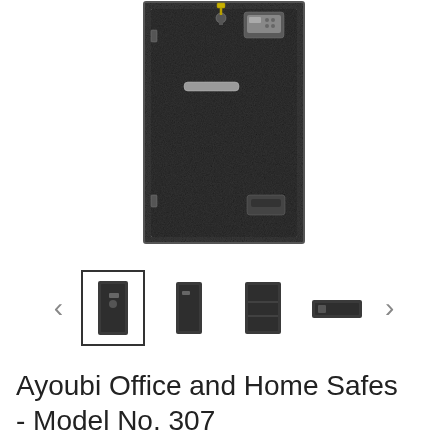[Figure (photo): A dark charcoal/black textured floor safe (Ayoubi Model No. 307) shown front-facing, tall and narrow, with an electronic keypad lock, key lock, handle, and deposit slot near the bottom.]
[Figure (photo): Thumbnail carousel showing four small product images of the safe from different angles, with left and right navigation arrows. The first thumbnail is selected (has a border).]
Ayoubi Office and Home Safes - Model No. 307